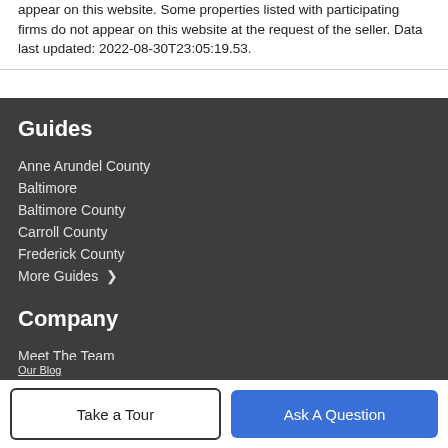appear on this website. Some properties listed with participating firms do not appear on this website at the request of the seller. Data last updated: 2022-08-30T23:05:19.53.
Guides
Anne Arundel County
Baltimore
Baltimore County
Carroll County
Frederick County
More Guides ❯
Company
Meet The Team
Our Blog
Take a Tour
Ask A Question